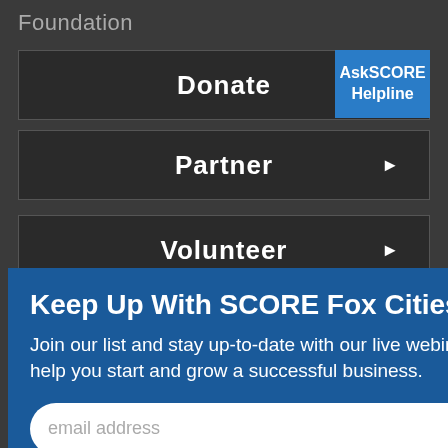Foundation
Donate
AskSCORE Helpline
Partner
Volunteer
Keep Up With SCORE Fox Cities
Join our list and stay up-to-date with our live webinars designed to help you start and grow a successful business.
email address
SUBMIT
opinions, and/or recommendations expressed herein are those of the author(s) and do not necessarily reflect the views of the SBA.